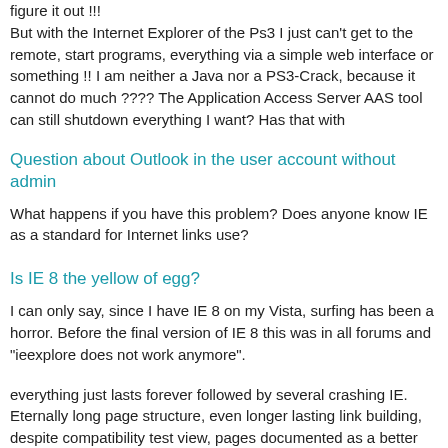figure it out !!! But with the Internet Explorer of the Ps3 I just can't get to the remote, start programs, everything via a simple web interface or something !! I am neither a Java nor a PS3-Crack, because it cannot do much ???? The Application Access Server AAS tool can still shutdown everything I want? Has that with
Question about Outlook in the user account without admin
What happens if you have this problem? Does anyone know IE as a standard for Internet links use?
Is IE 8 the yellow of egg?
I can only say, since I have IE 8 on my Vista, surfing has been a horror. Before the final version of IE 8 this was in all forums and "ieexplore does not work anymore".
everything just lasts forever followed by several crashing IE. Eternally long page structure, even longer lasting link building, despite compatibility test view, pages documented as a better browser than the IE 7 and the Firefox coming close. Only sometimes comes the hint I now want to uninstall the IE 8 and had now like to know your opinion or experience about the IE 8.